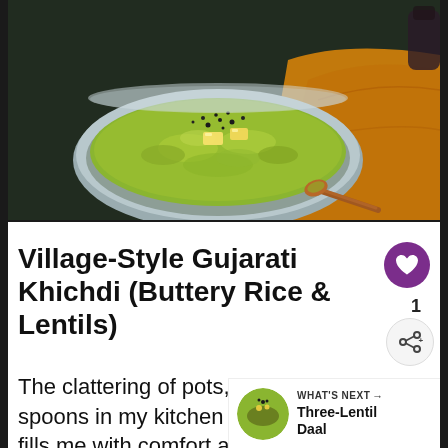[Figure (photo): A steel bowl (kadhai) filled with green-yellow Gujarati Khichdi topped with butter pats and black pepper, with a copper spoon, placed on a golden/mustard cloth against a dark background.]
Village-Style Gujarati Khichdi (Buttery Rice & Lentils)
The clattering of pots, pans and spoons in my kitchen is a so... that fills me with comfort and joy.
WHAT'S NEXT → Three-Lentil Daal